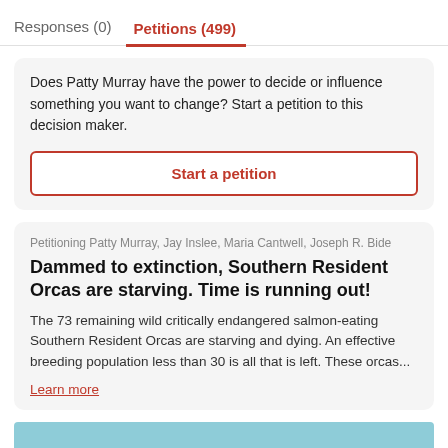Responses (0)  Petitions (499)
Does Patty Murray have the power to decide or influence something you want to change? Start a petition to this decision maker.
Start a petition
Petitioning Patty Murray, Jay Inslee, Maria Cantwell, Joseph R. Bide
Dammed to extinction, Southern Resident Orcas are starving. Time is running out!
The 73 remaining wild critically endangered salmon-eating Southern Resident Orcas are starving and dying. An effective breeding population less than 30 is all that is left. These orcas...
Learn more